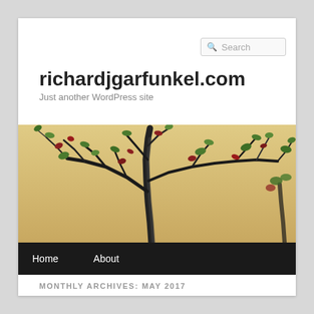richardjgarfunkel.com
Just another WordPress site
[Figure (photo): Close-up photo of a bonsai-like tree with dark twisted branches and small green and red leaves against a warm beige/tan background]
MONTHLY ARCHIVES: MAY 2017